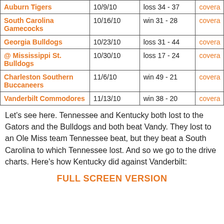| Team | Date | Result | Coverage |
| --- | --- | --- | --- |
| Auburn Tigers | 10/9/10 | loss 34 - 37 | covera... |
| South Carolina Gamecocks | 10/16/10 | win 31 - 28 | covera... |
| Georgia Bulldogs | 10/23/10 | loss 31 - 44 | covera... |
| @ Mississippi St. Bulldogs | 10/30/10 | loss 17 - 24 | covera... |
| Charleston Southern Buccaneers | 11/6/10 | win 49 - 21 | covera... |
| Vanderbilt Commodores | 11/13/10 | win 38 - 20 | covera... |
Let's see here. Tennessee and Kentucky both lost to the Gators and the Bulldogs and both beat Vandy. They lost to an Ole Miss team Tennessee beat, but they beat a South Carolina to which Tennessee lost. And so we go to the drive charts. Here's how Kentucky did against Vanderbilt:
FULL SCREEN VERSION